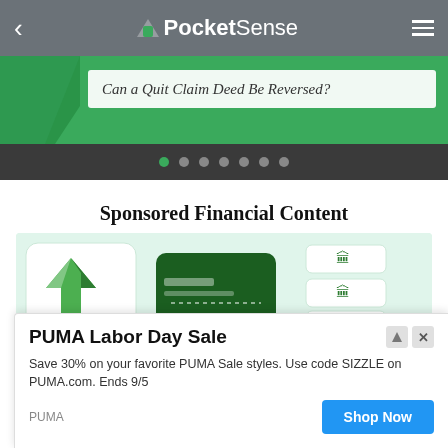PocketSense
Can a Quit Claim Deed Be Reversed?
Sponsored Financial Content
[Figure (illustration): NerdWallet promotional image showing credit cards and bank icons on a light green background]
Excel
NerdW...
PUMA Labor Day Sale
Save 30% on your favorite PUMA Sale styles. Use code SIZZLE on PUMA.com. Ends 9/5
PUMA
Shop Now